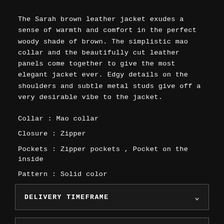The Sarah brown leather jacket exudes a sense of warmth and comfort in the perfect woody shade of brown. The simplistic mao collar and the beautifully cut leather panels come together to give the most elegant jacket ever. Edgy details on the shoulders and subtle metal studs give off a very desirable vibe to the jacket.
Collar :  Mao collar
Closure :  Zipper
Pockets :  Zipper pockets , Pocket on the inside
Pattern :  Solid color
Details :  Zipper
DELIVERY TIMEFRAME